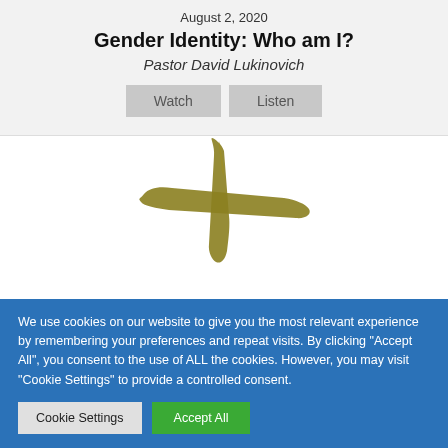August 2, 2020
Gender Identity: Who am I?
Pastor David Lukinovich
[Figure (illustration): Illustrated golden/olive colored cross on a white background, partially visible]
We use cookies on our website to give you the most relevant experience by remembering your preferences and repeat visits. By clicking "Accept All", you consent to the use of ALL the cookies. However, you may visit "Cookie Settings" to provide a controlled consent.